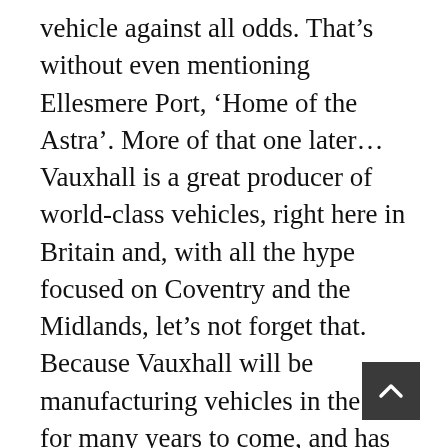vehicle against all odds. That's without even mentioning Ellesmere Port, 'Home of the Astra'. More of that one later… Vauxhall is a great producer of world-class vehicles, right here in Britain and, with all the hype focused on Coventry and the Midlands, let's not forget that. Because Vauxhall will be manufacturing vehicles in the UK for many years to come, and has been for 112 years – nobody else can even come close…